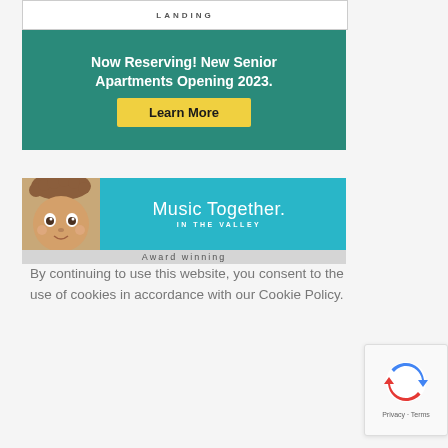[Figure (illustration): Advertisement banner: teal/green background with white text 'Now Reserving! New Senior Apartments Opening 2023.' and a yellow 'Learn More' button. Top portion shows partial text 'LANDING' on white background.]
[Figure (illustration): Advertisement banner: cyan/teal background with a baby face on left and white text 'Music Together. IN THE VALLEY' on right. Bottom partially cut off showing more text.]
By continuing to use this website, you consent to the use of cookies in accordance with our Cookie Policy.
[Figure (other): Dark navy blue 'ACCEPT' button for cookie consent.]
[Figure (other): reCAPTCHA logo box in bottom right corner with 'Privacy - Terms' text.]